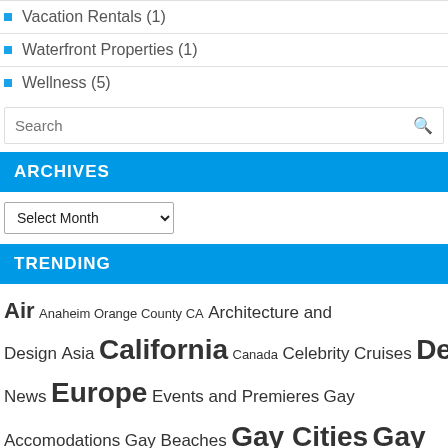Vacation Rentals (1)
Waterfront Properties (1)
Wellness (5)
Search
ARCHIVES
Select Month
TRENDING
Air Anaheim Orange County CA Architecture and Design Asia California Canada Celebrity Cruises Deals Entertainment News Europe Events and Premieres Gay Accomodations Gay Beaches Gay Cities Gay Hotels Gay Marriage Gay News Gay Pride Gay Resorts Gay Travel Tips Gay Vacations Guest Authors Hate Hawaii Holidays Hotels Island Life Links and Resources Mexico